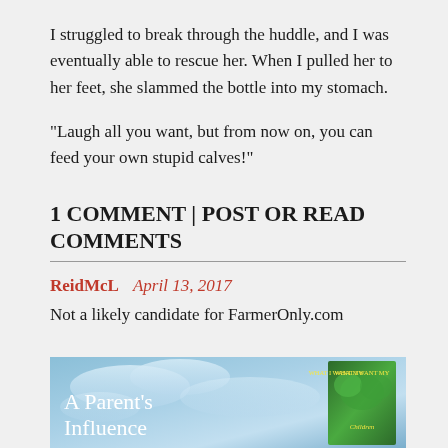I struggled to break through the huddle, and I was eventually able to rescue her. When I pulled her to her feet, she slammed the bottle into my stomach.
“Laugh all you want, but from now on, you can feed your own stupid calves!”
1 COMMENT | POST OR READ COMMENTS
ReidMcL   April 13, 2017
Not a likely candidate for FarmerOnly.com
[Figure (illustration): Book promotion banner showing 'A Parent's Influence' text on a sky background with a book cover visible on the right side showing green foliage design with text 'What I Want My Children']